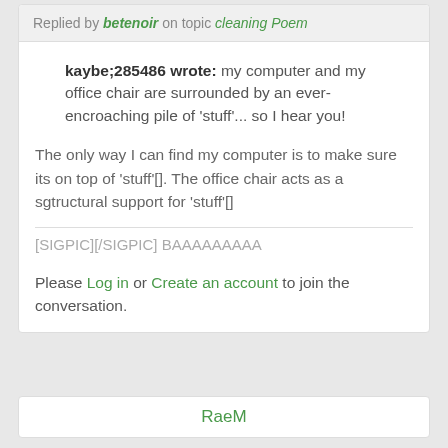Replied by betenoir on topic cleaning Poem
kaybe;285486 wrote: my computer and my office chair are surrounded by an ever-encroaching pile of 'stuff'... so I hear you!
The only way I can find my computer is to make sure its on top of 'stuff'[]. The office chair acts as a sgtructural support for 'stuff'[]
[SIGPIC][/SIGPIC] BAAAAAAAAA
Please Log in or Create an account to join the conversation.
RaeM